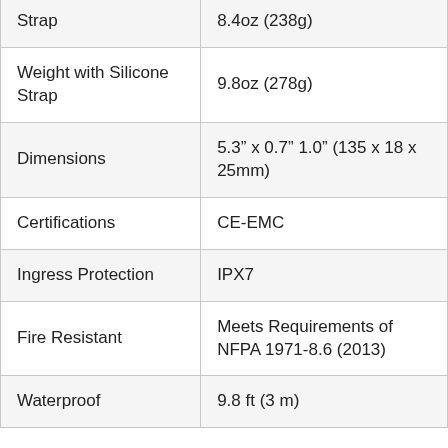| [...] Strap | 8.4oz (238g) |
| Weight with Silicone Strap | 9.8oz (278g) |
| Dimensions | 5.3" x 0.7" 1.0" (135 x 18 x 25mm) |
| Certifications | CE-EMC |
| Ingress Protection | IPX7 |
| Fire Resistant | Meets Requirements of NFPA 1971-8.6 (2013) |
| Waterproof | 9.8 ft (3 m) |